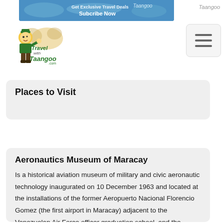[Figure (logo): Travel with Taangoo logo featuring cartoon explorer character with hat]
[Figure (illustration): Subscribe Now banner advertisement for Taangoo travel website]
Places to Visit
Aeronautics Museum of Maracay
Is a historical aviation museum of military and civic aeronautic technology inaugurated on 10 December 1963 and located at the installations of the former Aeropuerto Nacional Florencio Gomez (the first airport in Maracay) adjacent to the Venezuelan Air Force officer graduation school, and the "Cradle of Venezuelan Military Aviation" in the City of Maracay, Estado Aragua, Venezuela.The museum is the only one of its kind in Venezuela and the largest collector and restorator of aircraft, engines, weapons,